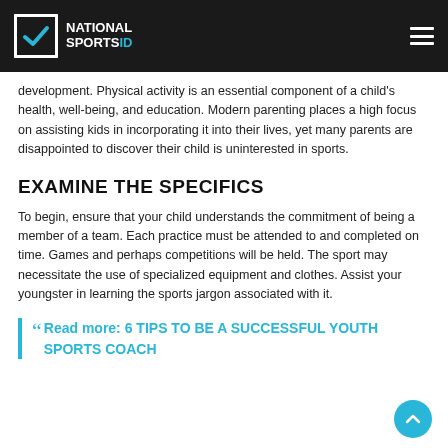National Sports ID
development. Physical activity is an essential component of a child's health, well-being, and education. Modern parenting places a high focus on assisting kids in incorporating it into their lives, yet many parents are disappointed to discover their child is uninterested in sports.
EXAMINE THE SPECIFICS
To begin, ensure that your child understands the commitment of being a member of a team. Each practice must be attended to and completed on time. Games and perhaps competitions will be held. The sport may necessitate the use of specialized equipment and clothes. Assist your youngster in learning the sports jargon associated with it.
Read more: 6 TIPS TO BE A SUCCESSFUL YOUTH SPORTS COACH